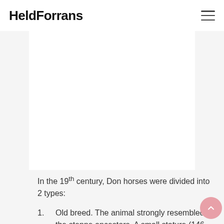HeldForrans
[Figure (other): White rectangular image/advertisement area embedded in the page content]
In the 19th century, Don horses were divided into 2 types:
1. Old breed. The animal strongly resembled the steppe ancestors. A small stature (146-155 cm) and a